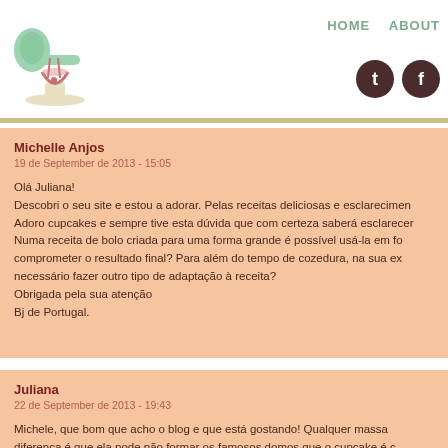HOME  ABOUT
Michelle Anjos
19 de September de 2013 - 15:05

Olá Juliana!
Descobri o seu site e estou a adorar. Pelas receitas deliciosas e esclarecimen...
Adoro cupcakes e sempre tive esta dúvida que com certeza saberá esclarecer...
Numa receita de bolo criada para uma forma grande é possível usá-la em fo...
comprometer o resultado final? Para além do tempo de cozedura, na sua e...
necessário fazer outro tipo de adaptação à receita?
Obrigada pela sua atenção
Bj de Portugal.
Juliana
22 de September de 2013 - 19:43

Michele, que bom que acho o blog e que está gostando! Qualquer massa...
diferença é que ela pode não formar os famosos domos que o cupcake é c...
o sabor vai continuar o mesmo. Não precisa alterar nada além do tempo no...